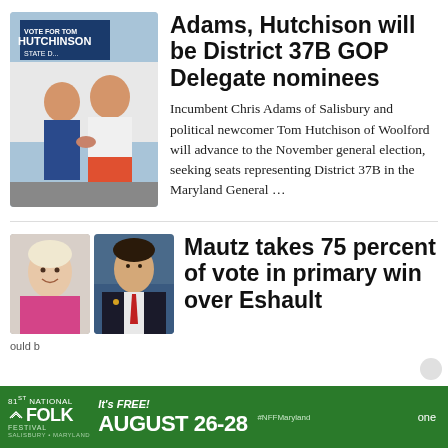[Figure (photo): Two men shaking hands outdoors near a campaign sign reading 'Vote for Tom Hutchinson State D...']
Adams, Hutchison will be District 37B GOP Delegate nominees
Incumbent Chris Adams of Salisbury and political newcomer Tom Hutchison of Woolford will advance to the November general election, seeking seats representing District 37B in the Maryland General ...
[Figure (photo): Portrait of a smiling blonde woman]
[Figure (photo): Portrait of a man in a suit with a red tie]
Mautz takes 75 percent of vote in primary win over Eshault
[Figure (infographic): 81st National Folk Festival advertisement banner. It's FREE! August 26-28 #NFFMaryland]
one